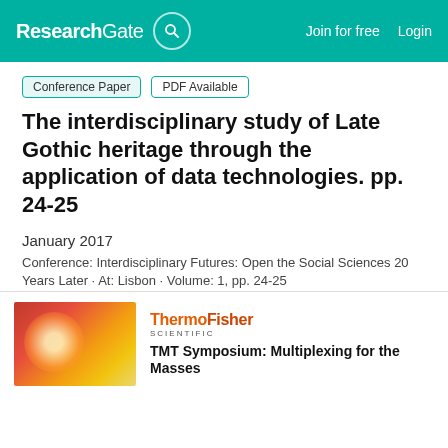ResearchGate  Join for free  Login
Conference Paper  PDF Available
The interdisciplinary study of Late Gothic heritage through the application of data technologies. pp. 24-25
January 2017
Conference: Interdisciplinary Futures: Open the Social Sciences 20 Years Later · At: Lisbon · Volume: 1, pp. 24-25
Project: Digital Information Model for the Knowledge and Management of Immovable Cultural Heritage. R+D+I unded by the
[Figure (photo): Thermo Fisher Scientific advertisement image showing a red/orange cell microscopy image on the left, with Thermo Fisher Scientific logo and text 'TMT Symposium: Multiplexing for the Masses' on the right]